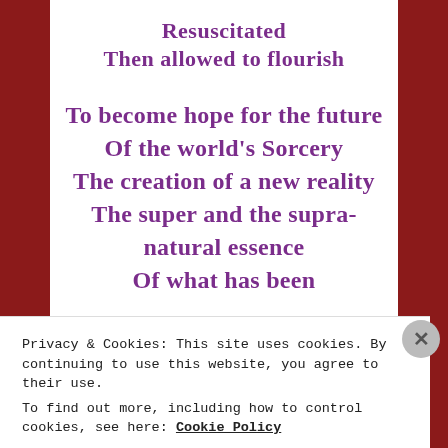Resuscitated
Then allowed to flourish
To become hope for the future
Of the world’s Sorcery
The creation of a new reality
The super and the supra-natural essence
Of what has been
Privacy & Cookies: This site uses cookies. By continuing to use this website, you agree to their use.
To find out more, including how to control cookies, see here: Cookie Policy
Close and accept